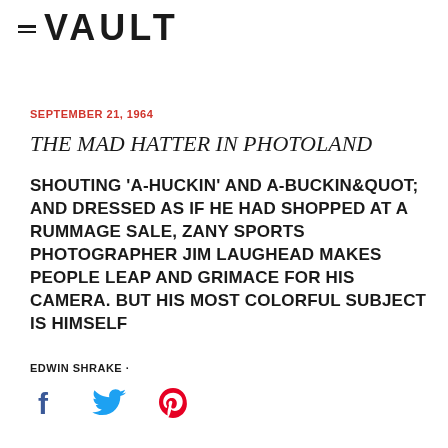≡ VAULT
SEPTEMBER 21, 1964
THE MAD HATTER IN PHOTOLAND
SHOUTING 'A-HUCKIN' AND A-BUCKIN&QUOT; AND DRESSED AS IF HE HAD SHOPPED AT A RUMMAGE SALE, ZANY SPORTS PHOTOGRAPHER JIM LAUGHEAD MAKES PEOPLE LEAP AND GRIMACE FOR HIS CAMERA. BUT HIS MOST COLORFUL SUBJECT IS HIMSELF
EDWIN SHRAKE ·
[Figure (infographic): Social media sharing icons: Facebook (blue f), Twitter (blue bird), Pinterest (red P)]